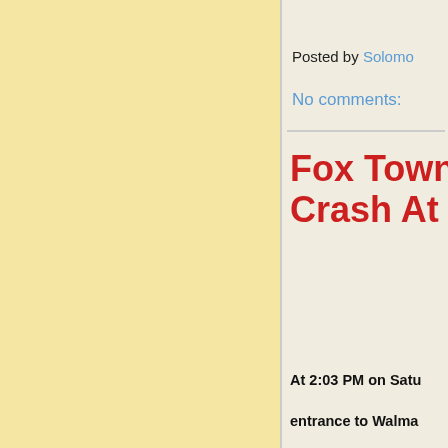Posted by Solomon
No comments:
Fox Towns Crash At
At 2:03 PM on Satu entrance to Walma